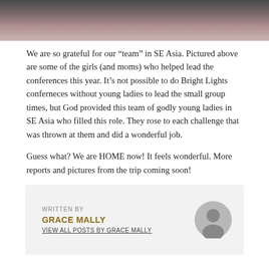[Figure (photo): Cropped group photo of girls and moms in SE Asia, partially visible at top of page]
We are so grateful for our “team” in SE Asia. Pictured above are some of the girls (and moms) who helped lead the conferences this year. It’s not possible to do Bright Lights conferneces without young ladies to lead the small group times, but God provided this team of godly young ladies in SE Asia who filled this role. They rose to each challenge that was thrown at them and did a wonderful job.
Guess what? We are HOME now! It feels wonderful. More reports and pictures from the trip coming soon!
WRITTEN BY
GRACE MALLY
VIEW ALL POSTS BY GRACE MALLY